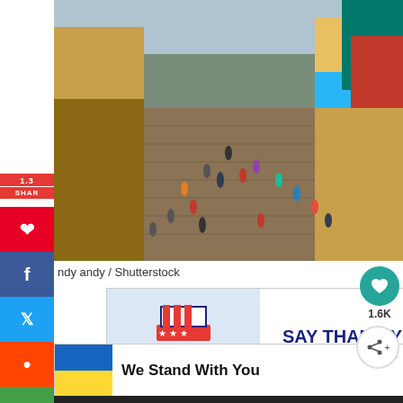[Figure (photo): Crowded boardwalk at a tourist marketplace (Pier 39 San Francisco style) with shops, colorful signs, and many pedestrians]
ndy andy / Shutterstock
[Figure (infographic): Advertisement: SAY THANK YOU TO DEPLOYED TROOPS - with Uncle Sam hat and American flag illustration]
[Figure (infographic): Advertisement: We Stand With You - with Ukraine flag colors (blue and yellow)]